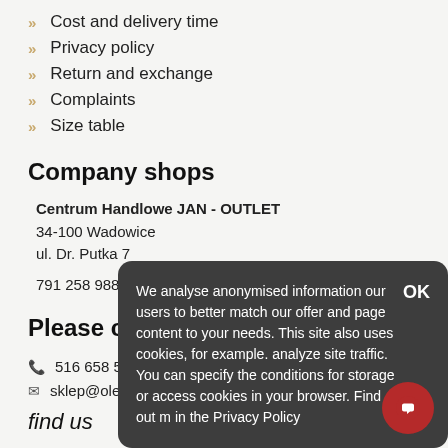>> Cost and delivery time
>> Privacy policy
>> Return and exchange
>> Complaints
>> Size table
Company shops
Centrum Handlowe JAN - OUTLET
34-100 Wadowice
ul. Dr. Putka 7

791 258 988
Please contact
516 658 545
sklep@oleksy...
find us
We analyse anonymised information our users to better match our offer and page content to your needs. This site also uses cookies, for example. analyze site traffic. You can specify the conditions for storage or access cookies in your browser. Find out m... in the Privacy Policy